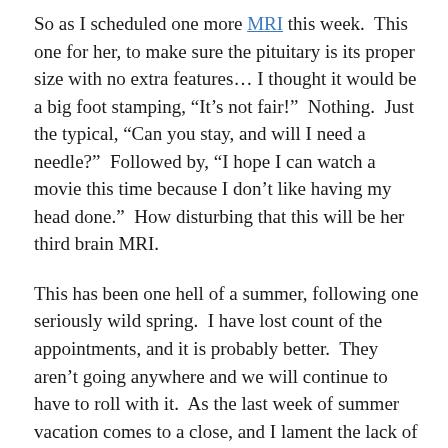So as I scheduled one more MRI this week.  This one for her, to make sure the pituitary is its proper size with no extra features… I thought it would be a big foot stamping, “It’s not fair!”  Nothing.  Just the typical, “Can you stay, and will I need a needle?”  Followed by, “I hope I can watch a movie this time because I don’t like having my head done.”  How disturbing that this will be her third brain MRI.
This has been one hell of a summer, following one seriously wild spring.  I have lost count of the appointments, and it is probably better.  They aren’t going anywhere and we will continue to have to roll with it.  As the last week of summer vacation comes to a close, and I lament the lack of relaxation, the cleaning that never happened, the day trips that never came to pass, I want to shout, “IT”S NOT FAIR!”